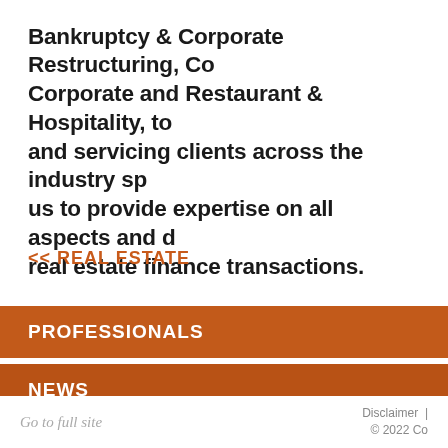Bankruptcy & Corporate Restructuring, Corporate and Restaurant & Hospitality, to and servicing clients across the industry spe us to provide expertise on all aspects and d real estate finance transactions.
<< REAL ESTATE
PROFESSIONALS
NEWS
Go to full site    Disclaimer  |   © 2022 Co